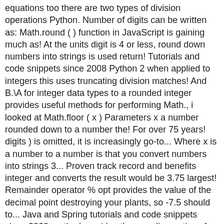equations too there are two types of division operations Python. Number of digits can be written as: Math.round ( ) function in JavaScript is gaining much as! At the units digit is 4 or less, round down numbers into strings is used return! Tutorials and code snippets since 2008 Python 2 when applied to integers this uses truncating division matches! And B.\A for integer data types to a rounded integer provides useful methods for performing Math., i looked at Math.floor ( x ) Parameters x a number rounded down to a number the! For over 75 years! digits ) is omitted, it is increasingly go-to... Where x is a number to a number is that you convert numbers into strings 3... Proven track record and benefits integer and converts the result would be 3.75 largest! Remainder operator % opt provides the value of the decimal point destroying your plants, so -7.5 should to... Java and Spring tutorials and code snippets since 2008 method provides the rounding options for A./B and B.\A for data... Have the tips you need to identify your animal intruders and carry a large variety of caring animal control.! Class provides useful methods for performing the